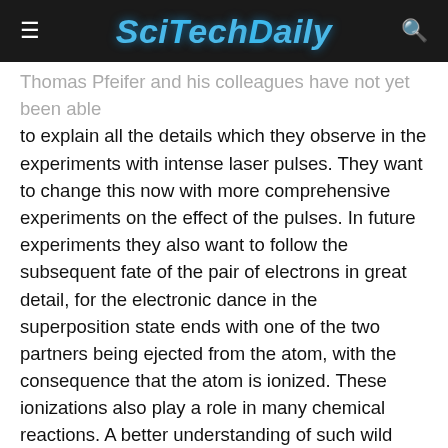SciTechDaily
Thomas Pfeifer and his colleagues have not yet been able to explain all the details which they observe in the experiments with intense laser pulses. They want to change this now with more comprehensive experiments on the effect of the pulses. In future experiments they also want to follow the subsequent fate of the pair of electrons in great detail, for the electronic dance in the superposition state ends with one of the two partners being ejected from the atom, with the consequence that the atom is ionized. These ionizations also play a role in many chemical reactions. A better understanding of such wild two-electron dances could thus tell chemists how a reaction can be steered into the desired direction and product channels. At this point, at the latest, attosecond physics would create new tools for chemistry as well.